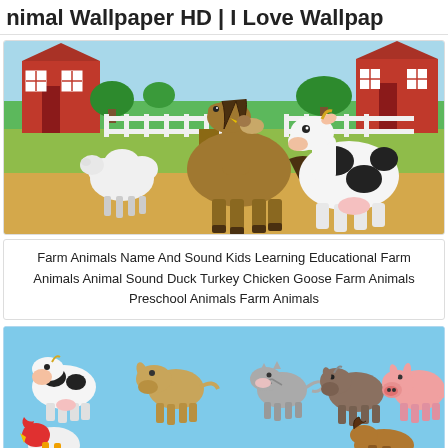nimal Wallpaper HD | I Love Wallpap
[Figure (illustration): 3D cartoon farm scene with a brown horse in the center, a white sheep on the left, a black and white cow on the right, two red barns in the background, white fences, green trees, and a sandy ground.]
Farm Animals Name And Sound Kids Learning Educational Farm Animals Animal Sound Duck Turkey Chicken Goose Farm Animals Preschool Animals Farm Animals
[Figure (illustration): Cartoon farm animals on a light blue background including a cow, dog, cat, goat/sheep, pig in the top row, and a rooster and horse partially visible in the bottom row.]